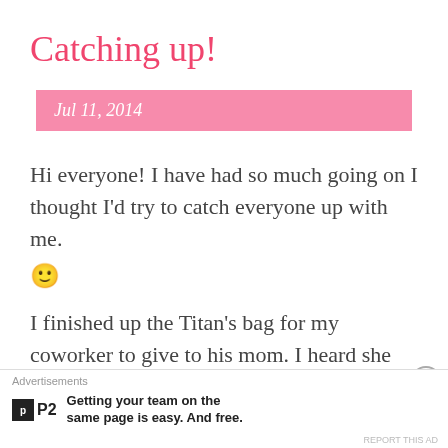Catching up!
Jul 11, 2014
Hi everyone!  I have had so much going on I thought I'd try to catch everyone up with me. 🙂
I finished up the Titan's bag for my coworker to give to his mom.  I heard she liked it well
Advertisements
Getting your team on the same page is easy. And free.